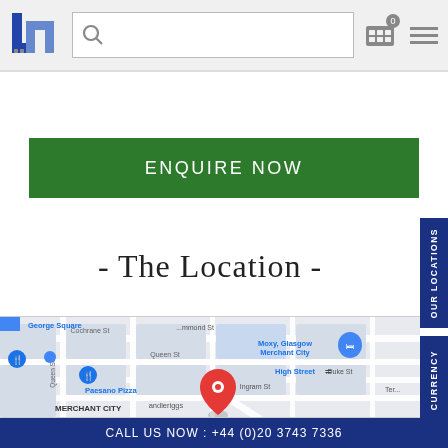JN logo, search bar, icons
ENQUIRE NOW
- The Location -
[Figure (map): Google Maps view showing Merchant City area in Glasgow, with markers for George Square, Paesano Pizza, Moxy Glasgow Merchant City, High Street station. Streets shown: Cochrane St, Queen St, Ingram St, Duke St. A red pin marks a specific location on Candleriggs. Blue map pins visible for nearby attractions.]
CALL US NOW : +44 (0)20 3743 7336